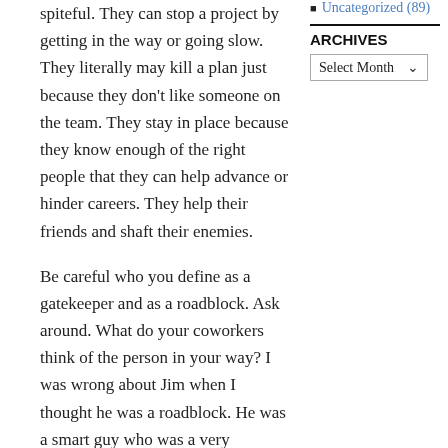spiteful. They can stop a project by getting in the way or going slow. They literally may kill a plan just because they don't like someone on the team. They stay in place because they know enough of the right people that they can help advance or hinder careers. They help their friends and shaft their enemies.
Be careful who you define as a gatekeeper and as a roadblock. Ask around. What do your coworkers think of the person in your way? I was wrong about Jim when I thought he was a roadblock. He was a smart guy who was a very respected gatekeeper.
Something to do today
Is someone getting in your way? Ask around. Are they gatekeepers or roadblocks?
Uncategorized (89)
ARCHIVES
Select Month